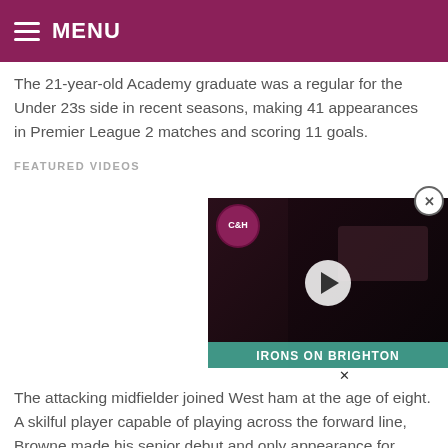MENU
The 21-year-old Academy graduate was a regular for the Under 23s side in recent seasons, making 41 appearances in Premier League 2 matches and scoring 11 goals.
FEATURED VIDEOS
[Figure (screenshot): Video thumbnail showing a man with glasses and a C&H (West Ham) badge logo, with play button overlay and 'IRONS ON BRIGHTON' caption at the bottom]
The attacking midfielder joined West ham at the age of eight. A skilful player capable of playing across the forward line, Browne made his senior debut and only appearance for West Ham as a